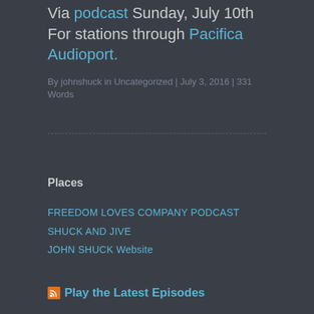Via podcast Sunday, July 10th
For stations through Pacifica Audioport.
By johnshuck in Uncategorized | July 3, 2016 | 331 Words
Places
FREEDOM LOVES COMPANY PODCAST
SHUCK AND JIVE
JOHN SHUCK Website
Play the Latest Episodes